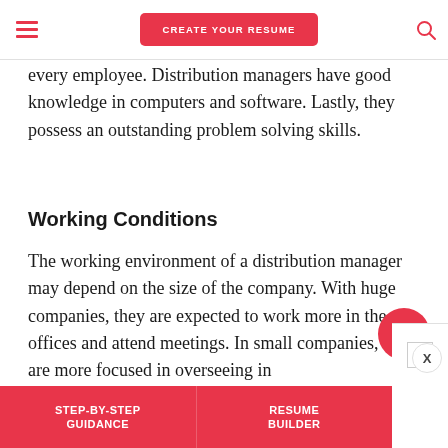CREATE YOUR RESUME
every employee. Distribution managers have good knowledge in computers and software. Lastly, they possess an outstanding problem solving skills.
Working Conditions
The working environment of a distribution manager may depend on the size of the company. With huge companies, they are expected to work more in the offices and attend meetings. In small companies, they are more focused in overseeing in
STEP-BY-STEP GUIDANCE  |  RESUME BUILDER